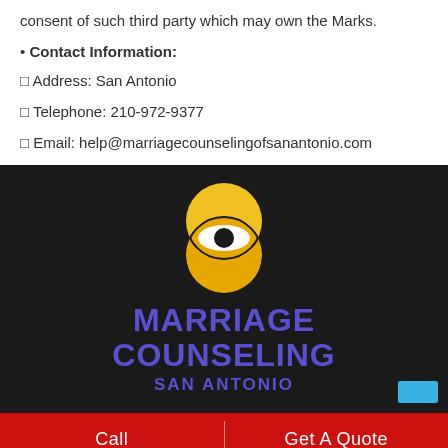consent of such third party which may own the Marks.
• Contact Information:
□ Address: San Antonio
□ Telephone: 210-972-9377
□ Email: help@marriagecounselingofsanantonio.com
[Figure (logo): Marriage Counseling San Antonio logo: two overlapping yellow circles forming an eye/vesica shape on a dark background, with the text MARRIAGE COUNSELING SAN ANTONIO in purple below]
Call | Get A Quote